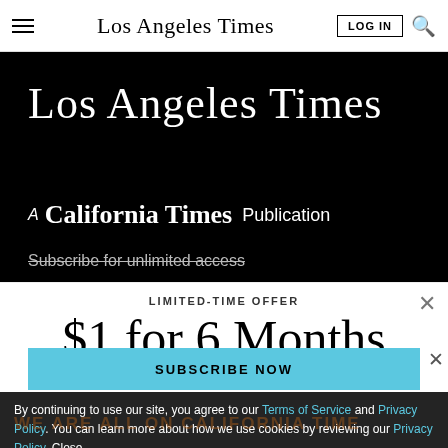Los Angeles Times | LOG IN | Search
[Figure (logo): Los Angeles Times masthead in black background with large blackletter font. Below: 'A California Times Publication'. Partially visible text: 'Subscribe for unlimited access']
LIMITED-TIME OFFER
$1 for 6 Months
SUBSCRIBE NOW
By continuing to use our site, you agree to our Terms of Service and Privacy Policy. You can learn more about how we use cookies by reviewing our Privacy Policy. Close